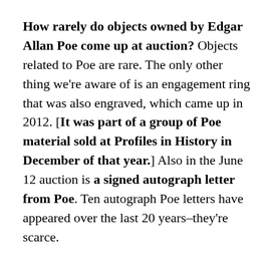How rarely do objects owned by Edgar Allan Poe come up at auction? Objects related to Poe are rare. The only other thing we're aware of is an engagement ring that was also engraved, which came up in 2012. [It was part of a group of Poe material sold at Profiles in History in December of that year.] Also in the June 12 auction is a signed autograph letter from Poe. Ten autograph Poe letters have appeared over the last 20 years–they're scarce.